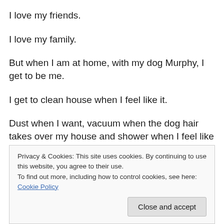I love my friends.
I love my family.
But when I am at home, with my dog Murphy, I get to be me.
I get to clean house when I feel like it.
Dust when I want, vacuum when the dog hair takes over my house and shower when I feel like it.
It took me a while to realize it, but my life if perfect for me
Privacy & Cookies: This site uses cookies. By continuing to use this website, you agree to their use.
To find out more, including how to control cookies, see here: Cookie Policy